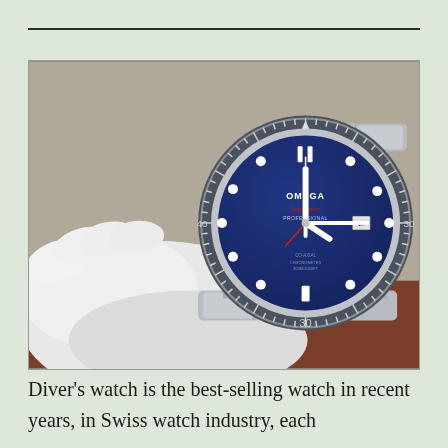[Figure (photo): A gloved hand holding an Omega Seamaster Professional diver's watch with a blue dial and stainless steel bracelet, photographed against a blurred background.]
Diver's watch is the best-selling watch in recent years, in Swiss watch industry, each